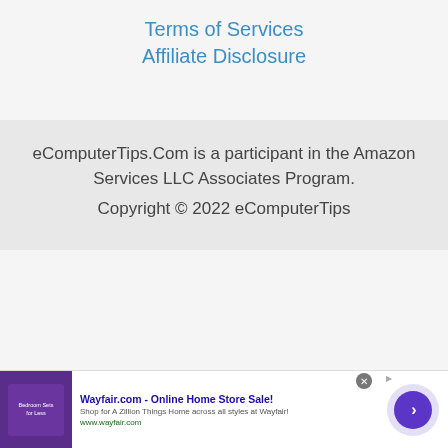Terms of Services
Affiliate Disclosure
eComputerTips.Com is a participant in the Amazon Services LLC Associates Program. Copyright © 2022 eComputerTips
[Figure (screenshot): Advertisement banner for Wayfair.com - Online Home Store Sale! with thumbnail image of bedroom sets, description text, URL www.wayfair.com, and a purple circular arrow button. Close button and ad indicator present.]